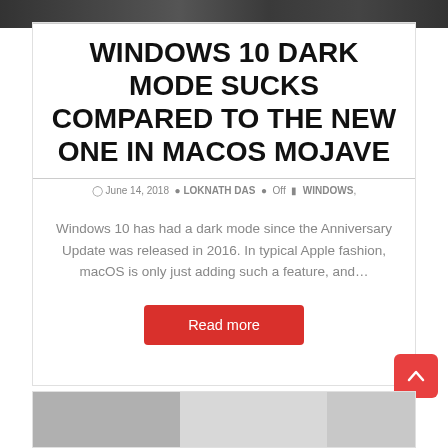[Figure (screenshot): Dark website header screenshot at top of page]
WINDOWS 10 DARK MODE SUCKS COMPARED TO THE NEW ONE IN MACOS MOJAVE
June 14, 2018  LOKNATH DAS  Off  WINDOWS,
Windows 10 has had a dark mode since the Anniversary Update was released in 2016. In typical Apple fashion, macOS is only just adding such a feature, and…
Read more
[Figure (screenshot): Partial screenshot of next article card at bottom]